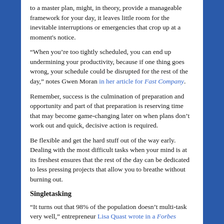to a master plan, might, in theory, provide a manageable framework for your day, it leaves little room for the inevitable interruptions or emergencies that crop up at a moment's notice.
“When you’re too tightly scheduled, you can end up undermining your productivity, because if one thing goes wrong, your schedule could be disrupted for the rest of the day,” notes Gwen Moran in her article for Fast Company.
Remember, success is the culmination of preparation and opportunity and part of that preparation is reserving time that may become game-changing later on when plans don’t work out and quick, decisive action is required.
Be flexible and get the hard stuff out of the way early. Dealing with the most difficult tasks when your mind is at its freshest ensures that the rest of the day can be dedicated to less pressing projects that allow you to breathe without burning out.
Singletasking
“It turns out that 98% of the population doesn’t multi-task very well,” entrepreneur Lisa Quast wrote in a Forbes article.
Study after study has revealed no significant productivity benefits from this daunting pseudo practice. In fact, multitasking is little more than